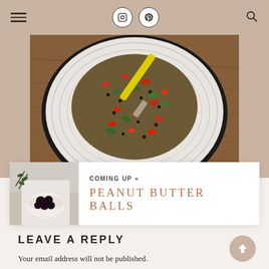Navigation header with hamburger menu, Instagram and Pinterest icons, and search icon
[Figure (photo): A white bowl/plate with a colorful grain and vegetable salad mix (red peppers, greens, dark grains) being stirred with a spatula with yellow handle, on a wooden surface]
COMING UP »
PEANUT BUTTER BALLS
LEAVE A REPLY
Your email address will not be published. Required fields are marked *